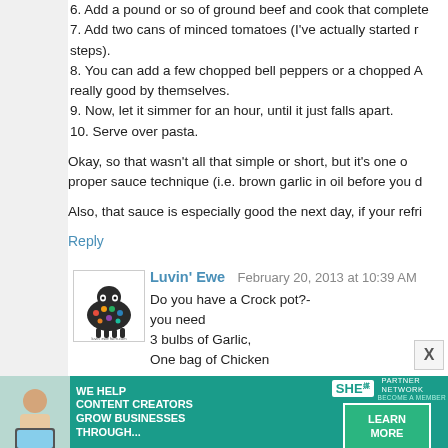6. Add a pound or so of ground beef and cook that completely
7. Add two cans of minced tomatoes (I've actually started r... steps).
8. You can add a few chopped bell peppers or a chopped A... really good by themselves.
9. Now, let it simmer for an hour, until it just falls apart.
10. Serve over pasta.
Okay, so that wasn't all that simple or short, but it's one o... proper sauce technique (i.e. brown garlic in oil before you d...
Also, that sauce is especially good the next day, if your refri...
Reply
Luvin' Ewe  February 20, 2013 at 10:39 AM
Do you have a Crock pot?-
you need
3 bulbs of Garlic,
One bag of Chicken parts(boneless,skinless,Frozen)
salt & Pepper
half a cup of water.

First thing in the morning:
Break up the garlic.. Get rid of all the loose papery...
[Figure (photo): Advertisement banner: WE HELP CONTENT CREATORS GROW BUSINESSES THROUGH... with SHE PARTNER NETWORK logo and LEARN MORE button]